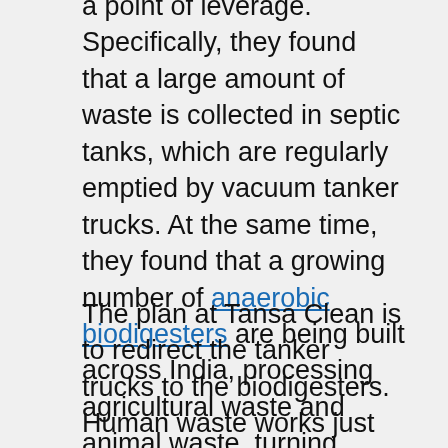a point of leverage. Specifically, they found that a large amount of waste is collected in septic tanks, which are regularly emptied by vacuum tanker trucks. At the same time, they found that a growing number of anaerobic biodigesters are being built across India, processing agricultural waste and animal waste, turning waste into renewable energy and pathogen-free compost.
The plan at Tansa Clean is to redirect the tanker trucks to the biodigesters. Human waste works just as well as animal waste in those processors, which work even better when both animal and plant wastes are mixed together. The gas